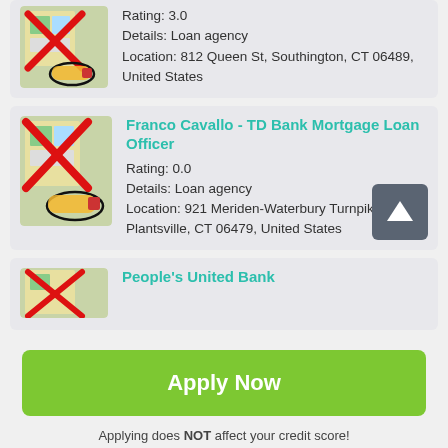[Figure (illustration): Loan agency map icon with red X and pencil]
Rating: 3.0
Details: Loan agency
Location: 812 Queen St, Southington, CT 06489, United States
[Figure (illustration): Loan agency map icon with red X and pencil]
Franco Cavallo - TD Bank Mortgage Loan Officer
Rating: 0.0
Details: Loan agency
Location: 921 Meriden-Waterbury Turnpike, Plantsville, CT 06479, United States
[Figure (illustration): Loan agency map icon partial]
People's United Bank
Apply Now
Applying does NOT affect your credit score!
No credit check to apply.